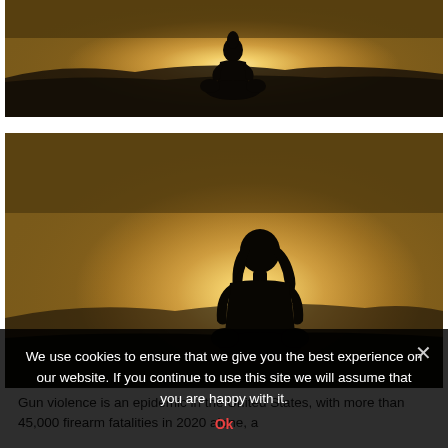[Figure (photo): Silhouette of a person sitting cross-legged against a bright golden sunset with mountain ridges in the background. Dark landscape, glowing sky.]
[Figure (photo): Silhouette of a person with long hair sitting against a bright golden sunset with mountain ridges in the background. Larger version of similar scene.]
We use cookies to ensure that we give you the best experience on our website. If you continue to use this site we will assume that you are happy with it.
Ok
Gun violence is an epidemic in the United States, with more than 45,000 firearm fatalities in 2020 alone, a